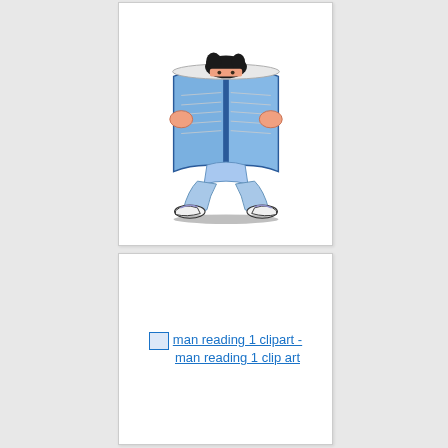[Figure (illustration): Clip art illustration of a child sitting cross-legged reading a large open book, holding it up in front of their face. The book is blue, the child wears light blue pants and sneakers with purple accents, and has dark hair visible above the book.]
[Figure (illustration): Broken image placeholder link showing 'man reading 1 clipart - man reading 1 clip art' as a hyperlink with a broken image icon.]